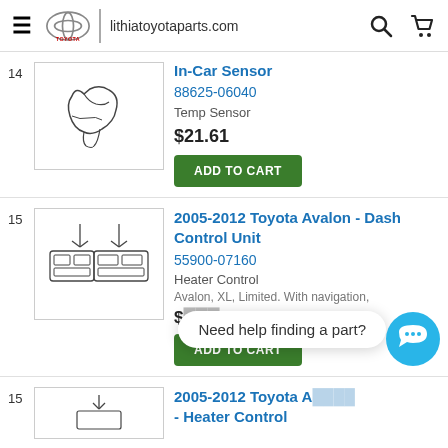lithiatoyotaparts.com
14 - In-Car Sensor | 88625-06040 | Temp Sensor | $21.61
15 - 2005-2012 Toyota Avalon - Dash Control Unit | 55900-07160 | Heater Control | Avalon, XL, Limited. With navigation, | ADD TO CART
Need help finding a part?
15 - 2005-2012 Toyota Avalon - Heater Control